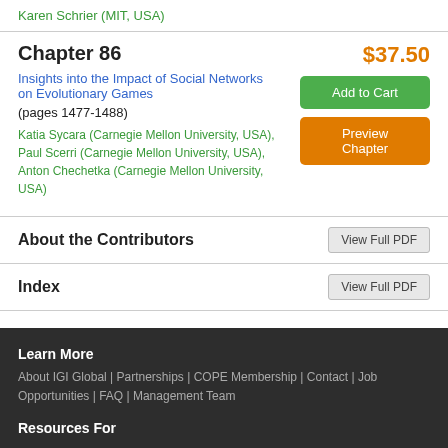Karen Schrier (MIT, USA)
Chapter 86
$37.50
Insights into the Impact of Social Networks on Evolutionary Games (pages 1477-1488)
Katia Sycara (Carnegie Mellon University, USA), Paul Scerri (Carnegie Mellon University, USA), Anton Chechetka (Carnegie Mellon University, USA)
About the Contributors
Index
Learn More
About IGI Global | Partnerships | COPE Membership | Contact | Job Opportunities | FAQ | Management Team
Resources For